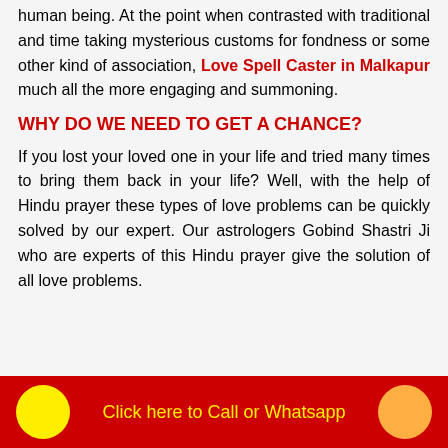human being. At the point when contrasted with traditional and time taking mysterious customs for fondness or some other kind of association, Love Spell Caster in Malkapur much all the more engaging and summoning.
WHY DO WE NEED TO GET A CHANCE?
If you lost your loved one in your life and tried many times to bring them back in your life? Well, with the help of Hindu prayer these types of love problems can be quickly solved by our expert. Our astrologers Gobind Shastri Ji who are experts of this Hindu prayer give the solution of all love problems.
Click here to Call or Whatsapp